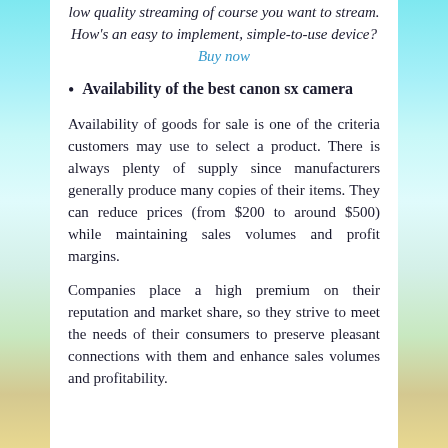low quality streaming of course you want to stream. How's an easy to implement, simple-to-use device? Buy now
Availability of the best canon sx camera
Availability of goods for sale is one of the criteria customers may use to select a product. There is always plenty of supply since manufacturers generally produce many copies of their items. They can reduce prices (from $200 to around $500) while maintaining sales volumes and profit margins.
Companies place a high premium on their reputation and market share, so they strive to meet the needs of their consumers to preserve pleasant connections with them and enhance sales volumes and profitability.